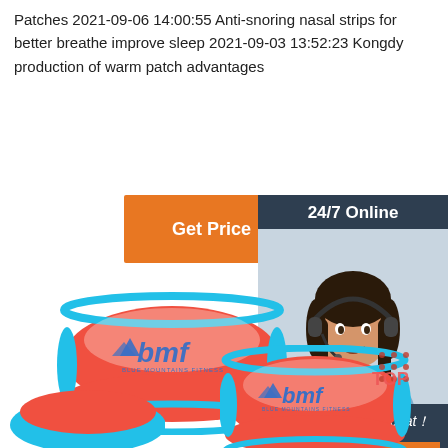Patches 2021-09-06 14:00:55 Anti-snoring nasal strips for better breathe improve sleep 2021-09-03 13:52:23 Kongdy production of warm patch advantages
[Figure (other): Orange 'Get Price' button]
[Figure (other): 24/7 Online customer service sidebar with photo of woman with headset, 'Click here for free chat!' text, and orange QUOTATION button]
[Figure (photo): Red and blue BMF (Blue Mountains Fitness) sports visor cap - front view, upper left]
[Figure (photo): Red and blue BMF sports visor cap - front view, lower right with decorative dots]
[Figure (photo): Partial red and blue BMF sports visor cap - bottom left, partially cut off]